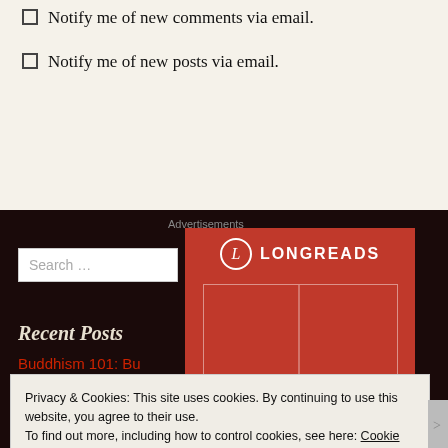Notify me of new comments via email.
Notify me of new posts via email.
Advertisements
Recent Posts
Buddhism 101: Bu
[Figure (logo): Longreads logo and advertisement banner in red with white border and circular L logo]
Privacy & Cookies: This site uses cookies. By continuing to use this website, you agree to their use.
To find out more, including how to control cookies, see here: Cookie Policy
Close and accept